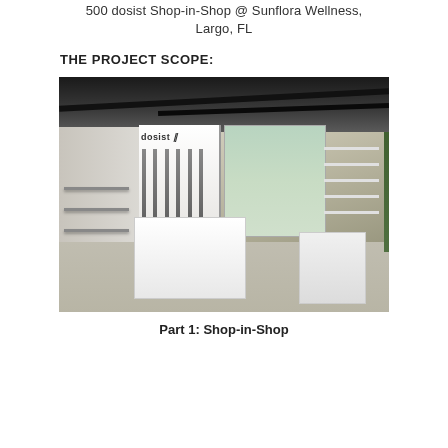500 dosist Shop-in-Shop @ Sunflora Wellness, Largo, FL
THE PROJECT SCOPE:
[Figure (photo): Interior photo of a dosist Shop-in-Shop retail space at Sunflora Wellness in Largo, FL. The space features white modern display cases, a striped accent wall panel with dosist branding, shelving units on the walls, large windows in the background, and a mix of tile and carpet flooring. The ceiling has exposed black structural beams.]
Part 1: Shop-in-Shop